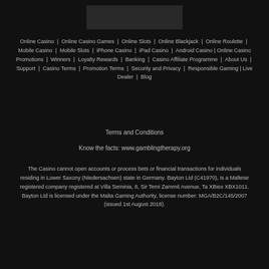[Figure (logo): Casino website logo/icons at top of page on dark background]
Online Casino | Online Casino Games | Online Slots | Online Blackjack | Online Roulette | Mobile Casino | Mobile Slots | iPhone Casino | iPad Casino | Android Casino | Online Casino Promotions | Winners | Loyalty Rewards | Banking | Casino Affiliate Programme | About Us | Support | Casino Terms | Promotion Terms | Security and Privacy | Responsible Gaming | Live Dealer | Blog
Terms and Conditions
Know the facts: www.gamblingtherapy.org
The Casino cannot open accounts or process bets or financial transactions for individuals residing in Lower Saxony (Niedersachsen) state in Germany. Bayton Ltd (C41970), is a Maltese registered company registered at Villa Seminia, 8, Sir Temi Zammit Avenue, Ta XBiex XBX1011. Bayton Ltd is licensed under the Malta Gaming Authority, license number: MGA/B2C/145/2007 (issued 1st August 2018).